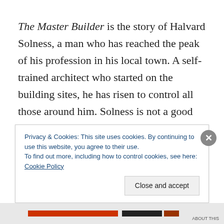The Master Builder is the story of Halvard Solness, a man who has reached the peak of his profession in his local town. A self-trained architect who started on the building sites, he has risen to control all those around him. Solness is not a good man and early on in the play (so no spoiler) we learn that he and his wife lost their children when their former home burned to the ground, and while they have
Privacy & Cookies: This site uses cookies. By continuing to use this website, you agree to their use.
To find out more, including how to control cookies, see here: Cookie Policy
Close and accept